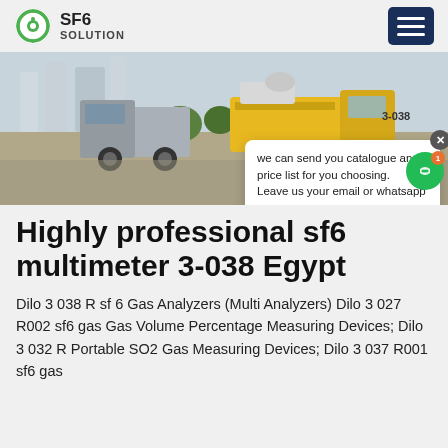SF6 SOLUTION
[Figure (photo): Yellow truck and industrial SF6 gas equipment at an outdoor site, hero banner image]
Highly professional sf6 multimeter 3-038 Egypt
Dilo 3 038 R sf 6 Gas Analyzers (Multi Analyzers) Dilo 3 027 R002 sf6 gas Gas Volume Percentage Measuring Devices; Dilo 3 032 R Portable SO2 Gas Measuring Devices; Dilo 3 037 R001 sf6 gas